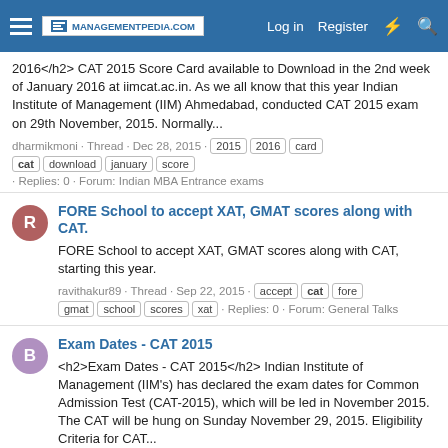MANAGEMENTPEDIA.COM | Log in | Register
2016</h2> CAT 2015 Score Card available to Download in the 2nd week of January 2016 at iimcat.ac.in. As we all know that this year Indian Institute of Management (IIM) Ahmedabad, conducted CAT 2015 exam on 29th November, 2015. Normally...
dharmikmoni · Thread · Dec 28, 2015 · 2015 2016 card cat download january score · Replies: 0 · Forum: Indian MBA Entrance exams
FORE School to accept XAT, GMAT scores along with CAT.
FORE School to accept XAT, GMAT scores along with CAT, starting this year.
ravithakur89 · Thread · Sep 22, 2015 · accept cat fore gmat school scores xat · Replies: 0 · Forum: General Talks
Exam Dates - CAT 2015
<h2>Exam Dates - CAT 2015</h2> Indian Institute of Management (IIM's) has declared the exam dates for Common Admission Test (CAT-2015), which will be led in November 2015. The CAT will be hung on Sunday November 29, 2015. Eligibility Criteria for CAT...